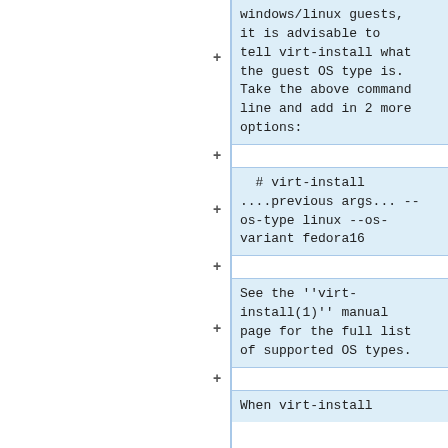windows/linux guests, it is advisable to tell virt-install what the guest OS type is. Take the above command line and add in 2 more options:
# virt-install
....previous args... --os-type linux --os-variant fedora16
See the ''virt-install(1)'' manual page for the full list of supported OS types.
When virt-install